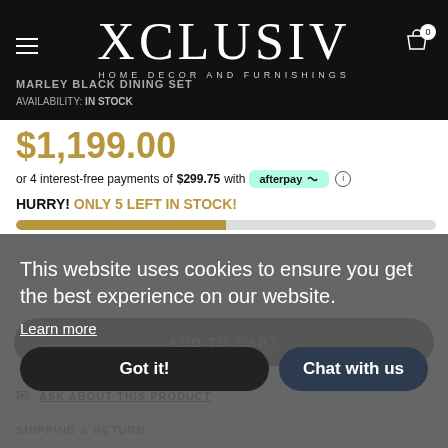XCLUSIV
HOME DECOR AND FURNISHINGS
MARLEY BLACK DINING SET
AVAILABILITY: IN STOCK
$1,199.00
or 4 interest-free payments of $299.75 with afterpay
HURRY! ONLY 5 LEFT IN STOCK!
This website uses cookies to ensure you get the best experience on our website.
Learn more
ADD TO CART
Got it!
Chat with us
ASK ABOUT THIS PRODUCT
SHIPPING & RETURN